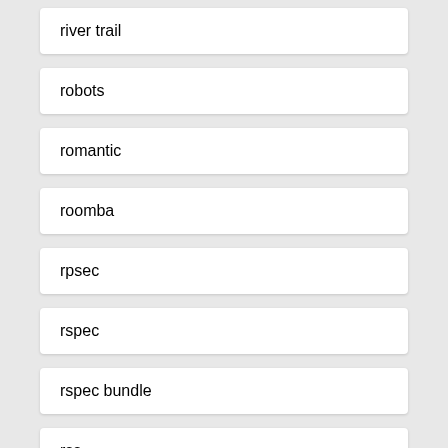river trail
robots
romantic
roomba
rpsec
rspec
rspec bundle
rss